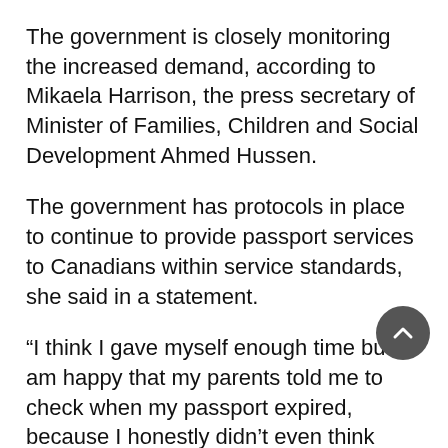The government is closely monitoring the increased demand, according to Mikaela Harrison, the press secretary of Minister of Families, Children and Social Development Ahmed Hussen.
The government has protocols in place to continue to provide passport services to Canadians within service standards, she said in a statement.
“I think I gave myself enough time but I am happy that my parents told me to check when my passport expired, because I honestly didn’t even think about it until they said so,” said Schoel.
As vaccination rates rise across the globe, so will traveller